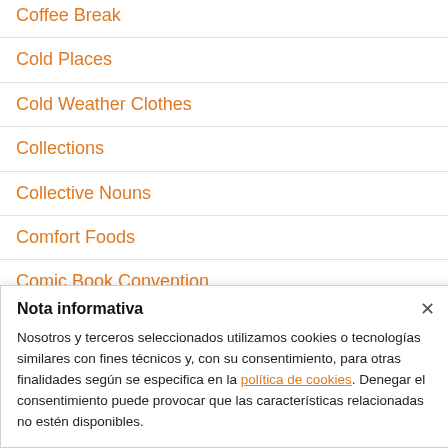Coffee Break
Cold Places
Cold Weather Clothes
Collections
Collective Nouns
Comfort Foods
Comic Book Convention
Nota informativa

Nosotros y terceros seleccionados utilizamos cookies o tecnologías similares con fines técnicos y, con su consentimiento, para otras finalidades según se especifica en la política de cookies. Denegar el consentimiento puede provocar que las características relacionadas no estén disponibles.